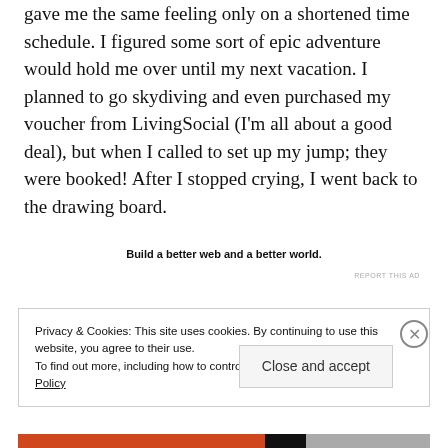gave me the same feeling only on a shortened time schedule. I figured some sort of epic adventure would hold me over until my next vacation. I planned to go skydiving and even purchased my voucher from LivingSocial (I'm all about a good deal), but when I called to set up my jump; they were booked! After I stopped crying, I went back to the drawing board.
Build a better web and a better world.
REPORT THIS AD
Privacy & Cookies: This site uses cookies. By continuing to use this website, you agree to their use.
To find out more, including how to control cookies, see here: Cookie Policy
Close and accept